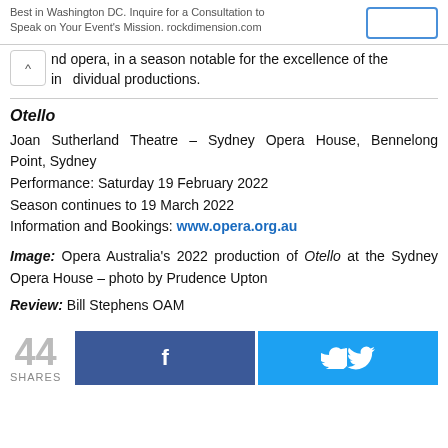Best in Washington DC. Inquire for a Consultation to Speak on Your Event's Mission. rockdimension.com
nd opera, in a season notable for the excellence of the individual productions.
Otello
Joan Sutherland Theatre – Sydney Opera House, Bennelong Point, Sydney
Performance: Saturday 19 February 2022
Season continues to 19 March 2022
Information and Bookings: www.opera.org.au
Image: Opera Australia's 2022 production of Otello at the Sydney Opera House – photo by Prudence Upton
Review: Bill Stephens OAM
44 SHARES